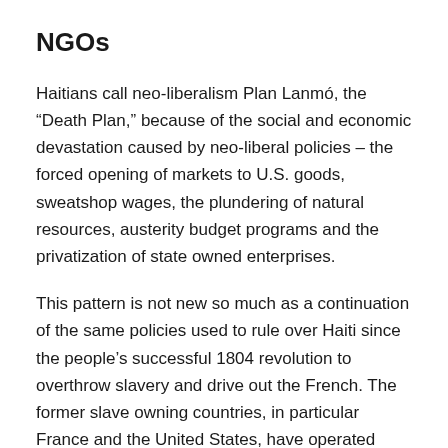NGOs
Haitians call neo-liberalism Plan Lanmó, the “Death Plan,” because of the social and economic devastation caused by neo-liberal policies – the forced opening of markets to U.S. goods, sweatshop wages, the plundering of natural resources, austerity budget programs and the privatization of state owned enterprises.
This pattern is not new so much as a continuation of the same policies used to rule over Haiti since the people’s successful 1804 revolution to overthrow slavery and drive out the French. The former slave owning countries, in particular France and the United States, have operated ever since to prevent any true democratic form of government that would benefit the majority of Haitians and limit in any way U.S. and French business interests.